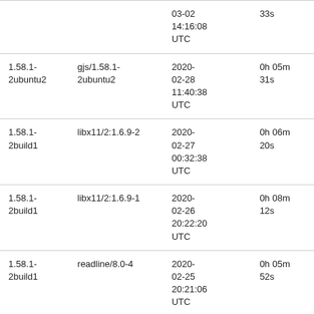| Version | Trigger | Date | Duration |
| --- | --- | --- | --- |
|  |  | 03-02 14:16:08 UTC | 33s |
| 1.58.1-2ubuntu2 | gjs/1.58.1-2ubuntu2 | 2020-02-28 11:40:38 UTC | 0h 05m 31s |
| 1.58.1-2build1 | libx11/2:1.6.9-2 | 2020-02-27 00:32:38 UTC | 0h 06m 20s |
| 1.58.1-2build1 | libx11/2:1.6.9-1 | 2020-02-26 20:22:20 UTC | 0h 08m 12s |
| 1.58.1-2build1 | readline/8.0-4 | 2020-02-25 20:21:06 UTC | 0h 05m 52s |